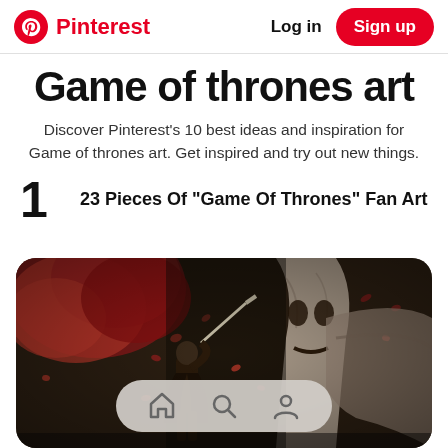Pinterest — Log in  Sign up
Game of thrones art
Discover Pinterest's 10 best ideas and inspiration for Game of thrones art. Get inspired and try out new things.
1  23 Pieces Of "Game Of Thrones" Fan Art
[Figure (photo): Game of Thrones fan art showing a warrior with a sword in front of a Weirwood tree with red leaves. A large stone-faced creature (possibly a White Walker or weirwood face) is visible in the background.]